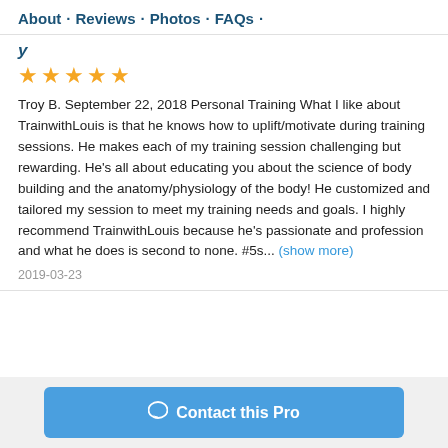About · Reviews · Photos · FAQs ·
y
[Figure (other): Five gold star rating icons]
Troy B. September 22, 2018 Personal Training What I like about TrainwithLouis is that he knows how to uplift/motivate during training sessions. He makes each of my training session challenging but rewarding. He's all about educating you about the science of body building and the anatomy/physiology of the body! He customized and tailored my session to meet my training needs and goals. I highly recommend TrainwithLouis because he's passionate and profession and what he does is second to none. #5s... (show more)
2019-03-23
Contact this Pro